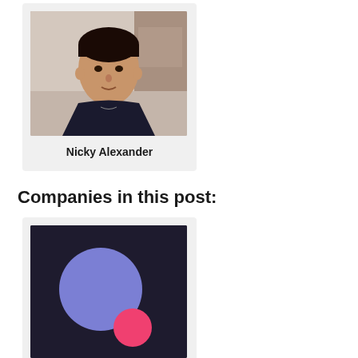[Figure (photo): Headshot photo of Nicky Alexander, a woman with dark hair pulled back, wearing a dark top, with a light background]
Nicky Alexander
Companies in this post:
[Figure (logo): Company logo: dark navy/purple background with a large blue/periwinkle circle on the left and a smaller hot pink circle on the lower right]